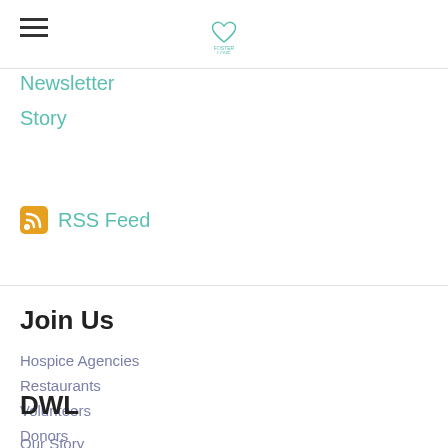[hamburger menu icon] [logo: Foster Love]
Newsletter
Story
RSS Feed
Join Us
Hospice Agencies
Restaurants
Volunteers
Donors
DWL
Our Story
Mission